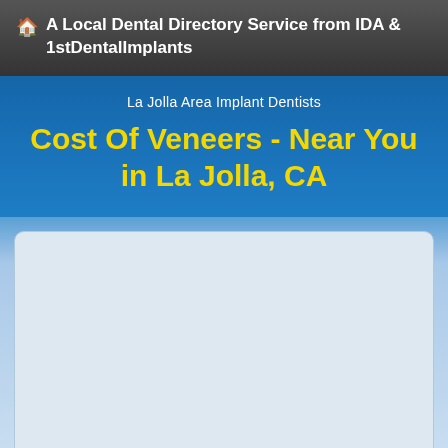🏠 A Local Dental Directory Service from IDA & 1stDentalImplants
La Jolla Area Implant Dentists
Cost Of Veneers - Near You in La Jolla, CA
[Figure (other): Empty light blue rounded rectangle content placeholder area]